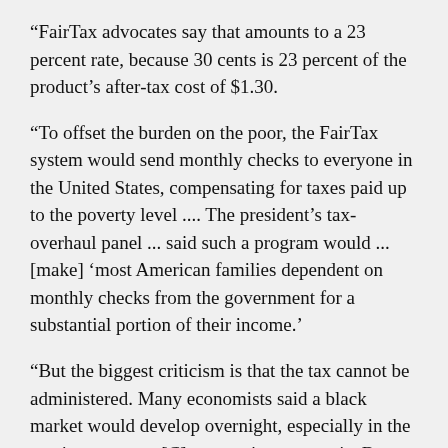“FairTax advocates say that amounts to a 23 percent rate, because 30 cents is 23 percent of the product’s after-tax cost of $1.30.
“To offset the burden on the poor, the FairTax system would send monthly checks to everyone in the United States, compensating for taxes paid up to the poverty level .... The president’s tax-overhaul panel ... said such a program would ... [make] ‘most American families dependent on monthly checks from the government for a substantial portion of their income.’
“But the biggest criticism is that the tax cannot be administered. Many economists said a black market would develop overnight, especially in the service sector. ... [C]onservative economist Bruce Bartlett wrote this week in the publication Tax Notes[,] ‘Because ... the IRS would have been